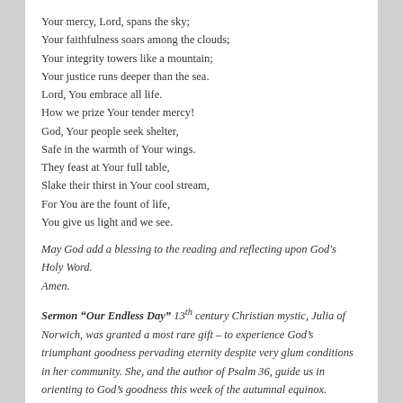Your mercy, Lord, spans the sky;
Your faithfulness soars among the clouds;
Your integrity towers like a mountain;
Your justice runs deeper than the sea.
Lord, You embrace all life.
How we prize Your tender mercy!
God, Your people seek shelter,
Safe in the warmth of Your wings.
They feast at Your full table,
Slake their thirst in Your cool stream,
For You are the fount of life,
You give us light and we see.
May God add a blessing to the reading and reflecting upon God's Holy Word. Amen.
Sermon "Our Endless Day" 13th century Christian mystic, Julia of Norwich, was granted a most rare gift – to experience God's triumphant goodness pervading eternity despite very glum conditions in her community. She, and the author of Psalm 36, guide us in orienting to God's goodness this week of the autumnal equinox. (Video includes scripture reading) https://youtu.be/KCV-M6pMmps